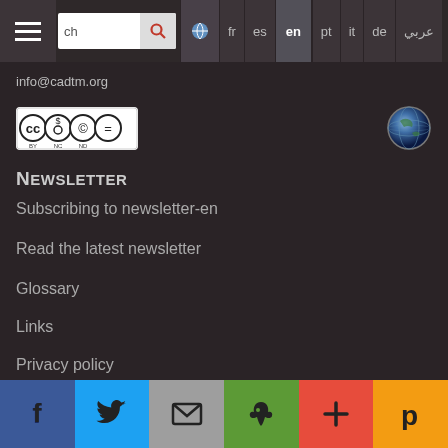Navigation bar with search, language selector: fr, es, en, pt, it, de, arabic
info@cadtm.org
[Figure (logo): Creative Commons BY NC ND license badge and globe icon]
Newsletter
Subscribing to newsletter-en
Read the latest newsletter
Glossary
Links
Privacy policy
Contact
Social bar: Facebook, Twitter, Email, Print, Plus, Pinterest